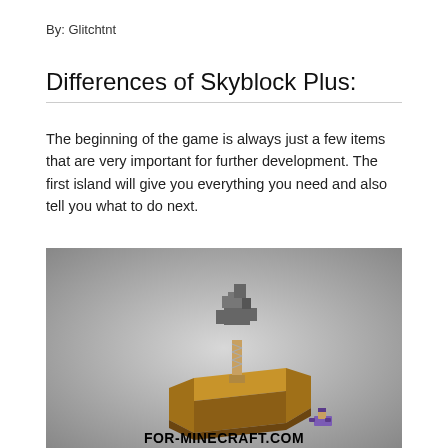By: Glitchtnt
Differences of Skyblock Plus:
The beginning of the game is always just a few items that are very important for further development. The first island will give you everything you need and also tell you what to do next.
[Figure (screenshot): Minecraft screenshot showing a small island with a dirt/sand block platform and a dead tree on top, on a gray gradient background. Bottom right shows FOR-MINECRAFT.COM watermark with a Minecraft character.]